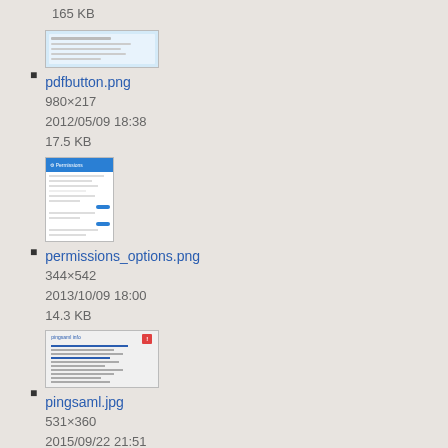165 KB
pdfbutton.png
980×217
2012/05/09 18:38
17.5 KB
permissions_options.png
344×542
2013/10/09 18:00
14.3 KB
pingsaml.jpg
531×360
2015/09/22 21:51
35.6 KB